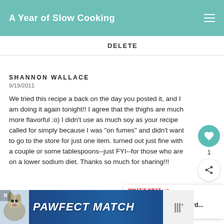A Year of Slow Cooking
DELETE
SHANNON WALLACE
9/19/2011

We tried this recipe a back on the day you posted it, and I am doing it again tonight!! I agree that the thighs are much more flavorful :o) I didn't use as much soy as your recipe called for simply because I was "on fumes" and didn't want to go to the store for just one item. turned out just fine with a couple or some tablespoons--just FYI--for those who are on a lower sodium diet. Thanks so much for sharing!!!
[Figure (screenshot): Advertisement banner for PAWFECT MATCH with dog illustration and Paramount+ logo]